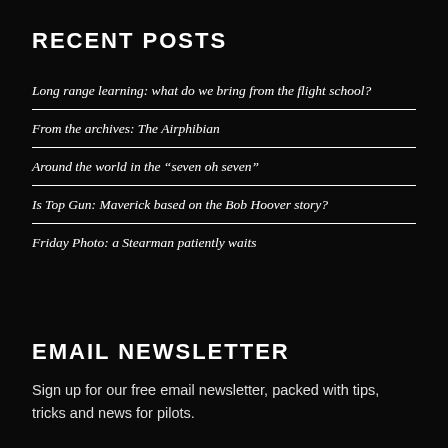RECENT POSTS
Long range learning: what do we bring from the flight school?
From the archives: The Airphibian
Around the world in the “seven oh seven”
Is Top Gun: Maverick based on the Bob Hoover story?
Friday Photo: a Stearman patiently waits
EMAIL NEWSLETTER
Sign up for our free email newsletter, packed with tips, tricks and news for pilots.